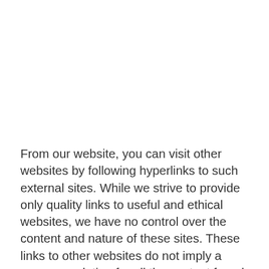From our website, you can visit other websites by following hyperlinks to such external sites. While we strive to provide only quality links to useful and ethical websites, we have no control over the content and nature of these sites. These links to other websites do not imply a recommendation for all the content found on these sites. Site owners and content may change without notice and may